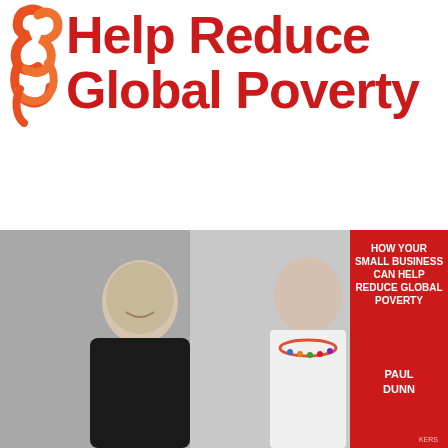[Figure (logo): Orange/red stylized hand/ribbon logo icon in upper left corner]
Help Reduce Global Poverty
[Figure (photo): Two photos side by side: left - older man in black jacket smiling (grey background), right - woman with short dark hair wearing white off-shoulder top and colorful beaded necklace smiling. Beside them is a book cover with red background reading 'HOW YOUR SMALL BUSINESS CAN HELP REDUCE GLOBAL POVERTY' by PAUL DUNN.]